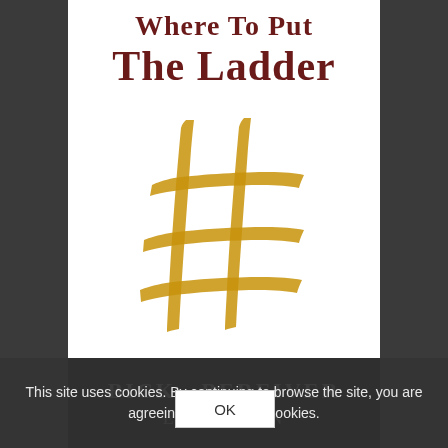Where To Put The Ladder
[Figure (illustration): A hand-painted golden/yellow hashtag symbol (#) on a white background, painted in a loose brushstroke style.]
This site uses cookies. By continuing to browse the site, you are agreeing to our use of cookies.
OK
BICK BEREIVER ERIK AN